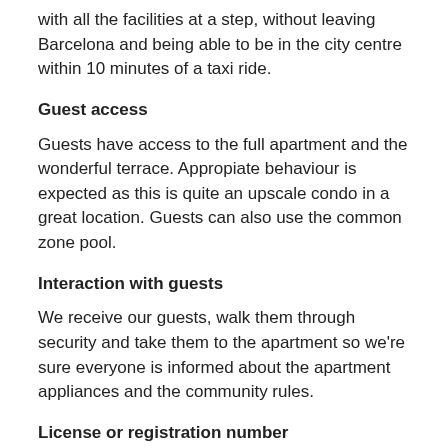with all the facilities at a step, without leaving Barcelona and being able to be in the city centre within 10 minutes of a taxi ride.
Guest access
Guests have access to the full apartment and the wonderful terrace. Appropiate behaviour is expected as this is quite an upscale condo in a great location. Guests can also use the common zone pool.
Interaction with guests
We receive our guests, walk them through security and take them to the apartment so we're sure everyone is informed about the apartment appliances and the community rules.
License or registration number
HUTB-000300